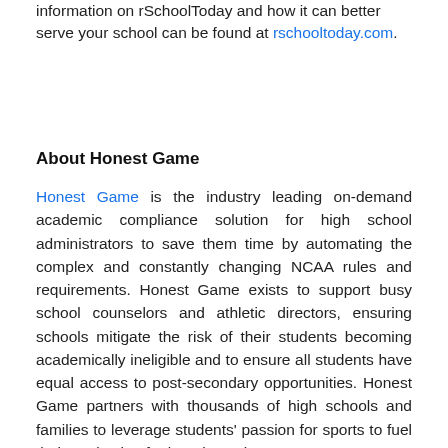information on rSchoolToday and how it can better serve your school can be found at rschooltoday.com.
About Honest Game
Honest Game is the industry leading on-demand academic compliance solution for high school administrators to save them time by automating the complex and constantly changing NCAA rules and requirements. Honest Game exists to support busy school counselors and athletic directors, ensuring schools mitigate the risk of their students becoming academically ineligible and to ensure all students have equal access to post-secondary opportunities. Honest Game partners with thousands of high schools and families to leverage students' passion for sports to fuel their motivation for learning using